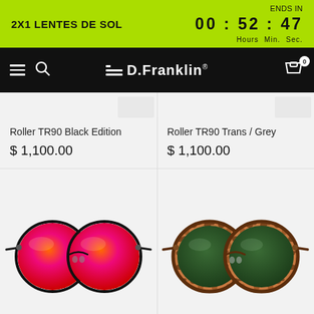2X1 LENTES DE SOL | ENDS IN 00 : 52 : 47 Hours Min. Sec.
[Figure (screenshot): D.Franklin brand navigation bar with hamburger menu, search icon, logo, and cart icon showing 0 items]
[Figure (photo): Partial view of two sunglasses product cards at top of page]
Roller TR90 Black Edition
$ 1,100.00
Roller TR90 Trans / Grey
$ 1,100.00
[Figure (photo): Round sunglasses with black frame and red/orange mirrored lenses - Roller TR90 Black Edition]
[Figure (photo): Round sunglasses with tortoise shell frame and dark green lenses - Roller TR90 Trans/Grey]